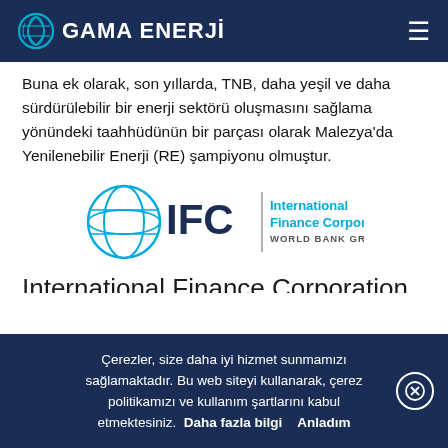GAMA ENERJİ
Buna ek olarak, son yıllarda, TNB, daha yeşil ve daha sürdürülebilir bir enerji sektörü oluşmasını sağlama yönündeki taahhüdünün bir parçası olarak Malezya'da Yenilenebilir Enerji (RE) şampiyonu olmuştur.
[Figure (logo): IFC – International Finance Corporation, World Bank Group logo]
International Finance Corporation – IFC
Çerezler, size daha iyi hizmet sunmamızı sağlamaktadır. Bu web siteyi kullanarak, çerez politikamızı ve kullanım şartlarını kabul etmektesiniz. Daha fazla bilgi   Anladım